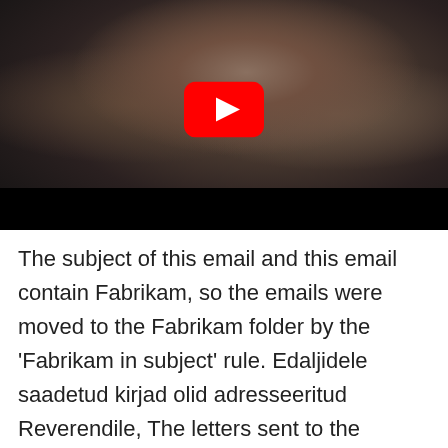[Figure (screenshot): YouTube video thumbnail showing a close-up of a person's face with a red YouTube play button overlay, and a black bar at the bottom of the video player.]
The subject of this email and this email contain Fabrikam, so the emails were moved to the Fabrikam folder by the 'Fabrikam in subject' rule. Edaljidele saadetud kirjad olid adresseeritud Reverendile, The letters sent to the Edaljis were addressed to the Reverend, Ta avas kõik, isegi abikaasale adresseeritud kirjad.